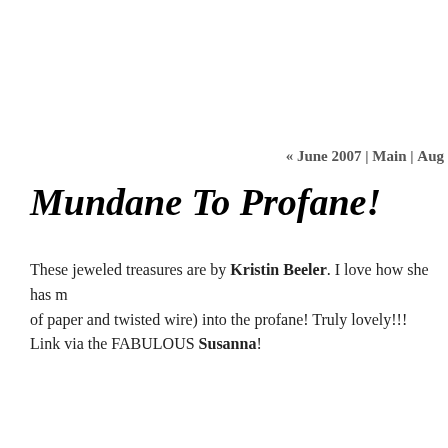« June 2007 | Main | Aug
Mundane To Profane!
These jeweled treasures are by Kristin Beeler. I love how she has made the mundane (bits of paper and twisted wire) into the profane! Truly lovely!!!
Link via the FABULOUS Susanna!